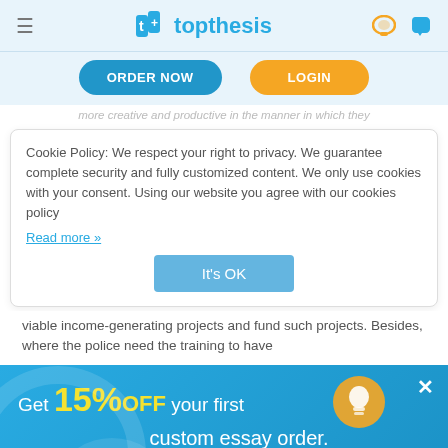[Figure (screenshot): TopThesis website header with hamburger menu, logo (t+ topthesis), chat and phone icons]
[Figure (screenshot): Navigation bar with ORDER NOW (blue) and LOGIN (yellow/orange) buttons]
more creative and productive in the manner in which they
Cookie Policy: We respect your right to privacy. We guarantee complete security and fully customized content. We only use cookies with your consent. Using our website you agree with our cookies policy Read more »
[Figure (screenshot): It's OK button in light blue]
viable income-generating projects and fund such projects. Besides, where the police need the training to have
[Figure (infographic): Blue promotional banner: Get 15% OFF your first custom essay order. Use promo-code top15. Order now button with play icon. Light bulb icon. Close X button.]